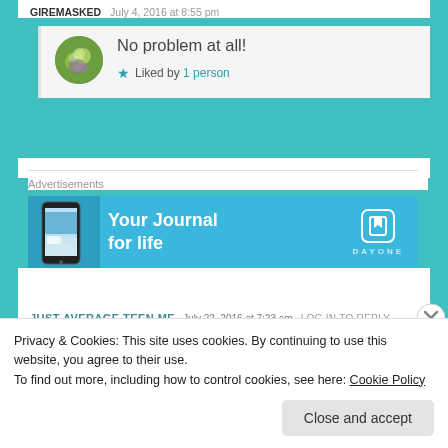GIREMASKED  July 4, 2016 at 8:55 pm
No problem at all!
★ Liked by 1 person
Advertisements
[Figure (screenshot): Day One app advertisement banner: 'Your Journal for life' with phone image and Day One logo on blue background]
JUST AVERAGE TEEN ME  July 22, 2016 at 7:23 am  LOG IN TO REPLY
Privacy & Cookies: This site uses cookies. By continuing to use this website, you agree to their use.
To find out more, including how to control cookies, see here: Cookie Policy